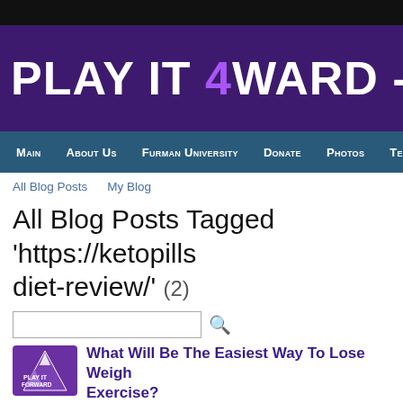PLAY IT 4WARD - SAN
Main  About Us  Furman University  Donate  Photos  Tea
All Blog Posts    My Blog
All Blog Posts Tagged 'https://ketopills diet-review/' (2)
[Figure (screenshot): Search input box with magnifying glass icon]
[Figure (logo): Play It Forward purple logo with bird/lightning icon]
What Will Be The Easiest Way To Lose Weight Exercise?
The is naturally citrus. This is a true statement. However, the foods we eat and the fat in body stores the additional acid, which results in overweight body. There are particular foods which might be alkaline and help to get rid